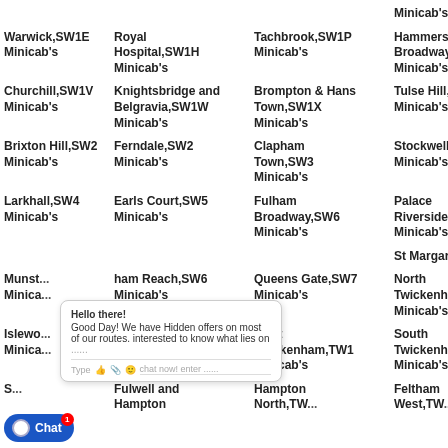Minicab's (partial top)
Hammersmith Broadway,SW1P Minicab's
Warwick,SW1E Minicab's
Royal Hospital,SW1H Minicab's
Tachbrook,SW1P Minicab's
Churchill,SW1V Minicab's
Knightsbridge and Belgravia,SW1W Minicab's
Brompton & Hans Town,SW1X Minicab's
Tulse Hill,SW2 Minicab's
Brixton Hill,SW2 Minicab's
Ferndale,SW2 Minicab's
Clapham Town,SW3 Minicab's
Stockwell,SW4 Minicab's
Larkhall,SW4 Minicab's
Earls Court,SW5 Minicab's
Fulham Broadway,SW6 Minicab's
Palace Riverside,SW6 Minicab's
St Margarets an...
Munst... ham Reach,SW6 Minicab's
Queens Gate,SW7 Minicab's
North Twickenham,TW Minicab's
Islewo... Minicab's
...ckenham ...rside,TW1 ...icab's
West Twickenham,TW1 Minicab's
South Twickenham,TW Minicab's
Fulwell and Hampton
Hampton North,TW... Minicab's
Feltham West,TW...